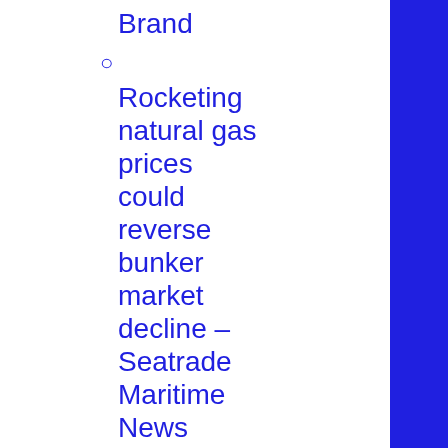Brand
Rocketing natural gas prices could reverse bunker market decline – Seatrade Maritime News
China's oil giants